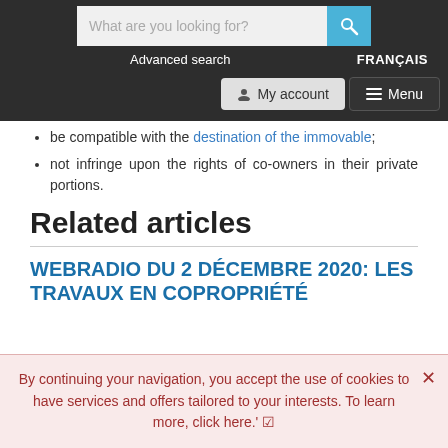What are you looking for? [search bar] Advanced search | FRANÇAIS | My account | Menu
be compatible with the destination of the immovable;
not infringe upon the rights of co-owners in their private portions.
Related articles
WEBRADIO DU 2 DÉCEMBRE 2020: LES TRAVAUX EN COPROPRIÉTÉ
By continuing your navigation, you accept the use of cookies to have services and offers tailored to your interests. To learn more, click here.'